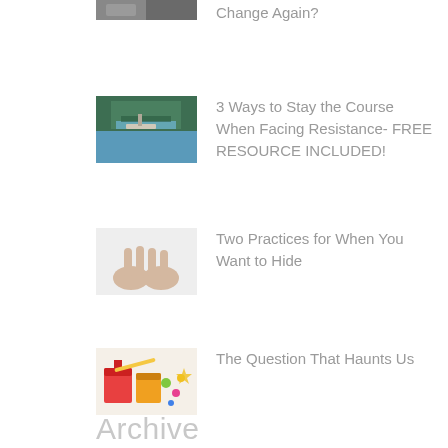[Figure (photo): Partial thumbnail of an image at top of page (cropped)]
Change Again?
[Figure (photo): Thumbnail of a river or waterway scene with green trees and blue water, with a boat]
3 Ways to Stay the Course When Facing Resistance- FREE RESOURCE INCLUDED!
[Figure (photo): Thumbnail of hands against a light background]
Two Practices for When You Want to Hide
[Figure (photo): Thumbnail of colorful craft items or wrapped gifts with festive decorations]
The Question That Haunts Us
Archive